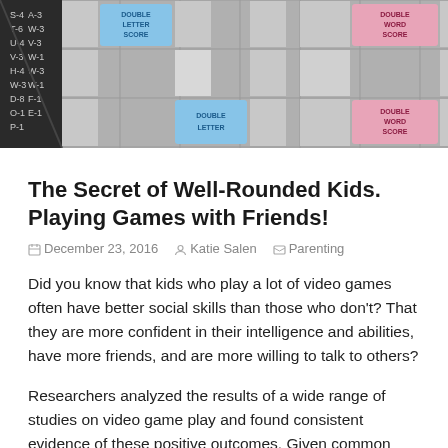[Figure (photo): Close-up photo of a Scrabble board showing tiles and colored squares including Double Letter Score (blue) and Double Word Score (pink) squares, with a tile rack visible on the left side.]
The Secret of Well-Rounded Kids. Playing Games with Friends!
December 23, 2016   Katie Salen   Parenting
Did you know that kids who play a lot of video games often have better social skills than those who don't? That they are more confident in their intelligence and abilities, have more friends, and are more willing to talk to others?
Researchers analyzed the results of a wide range of studies on video game play and found consistent evidence of these positive outcomes. Given common